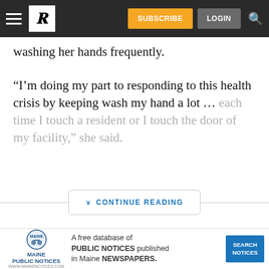Portland Press Herald — SUBSCRIBE LOGIN
washing her hands frequently.
“I’m doing my part to responding to this health crisis by keeping wash my hand a lot … each time I touch a resident or I touch the door of my facility,” she said.
CONTINUE READING
[Figure (logo): The Portland Press Herald newspaper logo]
[Figure (infographic): Maine Public Notices advertisement banner: A free database of PUBLIC NOTICES published in Maine NEWSPAPERS. SEARCH NOTICES]